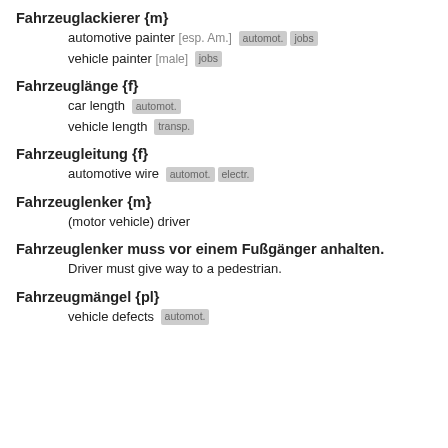Fahrzeuglackierer {m}
automotive painter [esp. Am.] automot. jobs
vehicle painter [male] jobs
Fahrzeuglänge {f}
car length automot.
vehicle length transp.
Fahrzeugleitung {f}
automotive wire automot. electr.
Fahrzeuglenker {m}
(motor vehicle) driver
Fahrzeuglenker muss vor einem Fußgänger anhalten.
Driver must give way to a pedestrian.
Fahrzeugmängel {pl}
vehicle defects automot.